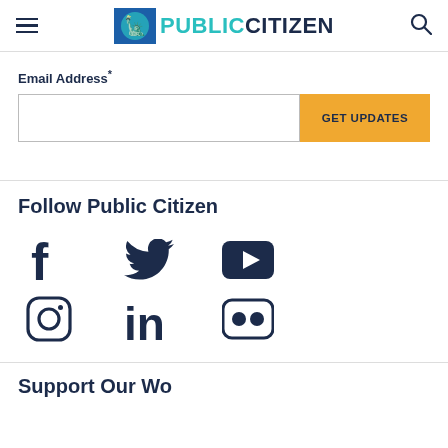Public Citizen
Email Address*
GET UPDATES
Follow Public Citizen
[Figure (other): Social media icons: Facebook, Twitter, YouTube, Instagram, LinkedIn, Flickr]
Support Our Work